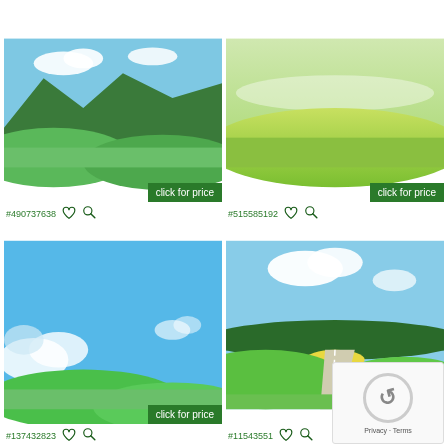[Figure (illustration): Illustrated landscape with green hills and blue sky with clouds, top-left]
click for price
#490737638
[Figure (illustration): Illustrated landscape with rolling green fields and bright sky, top-right]
click for price
#515585192
[Figure (illustration): Illustrated landscape with blue sky and cumulus clouds over green hills, bottom-left]
click for price
#137432823
[Figure (illustration): Illustrated landscape with road through green fields, hills, clouds and blue sky, bottom-right]
click for price
#11543551